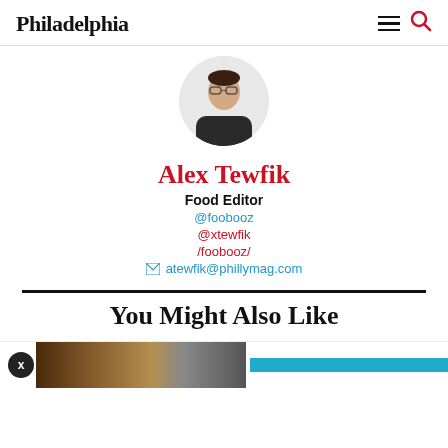Philadelphia
[Figure (photo): Circular profile photo of Alex Tewfik, a young man with glasses wearing a dark sweater, against a white background.]
Alex Tewfik
Food Editor
@foobooz
@xtewfik
/foobooz/
atewfik@phillymag.com
You Might Also Like
[Figure (photo): Partial thumbnail image of food and a blue bar, part of a content recommendation widget at the bottom of the page.]